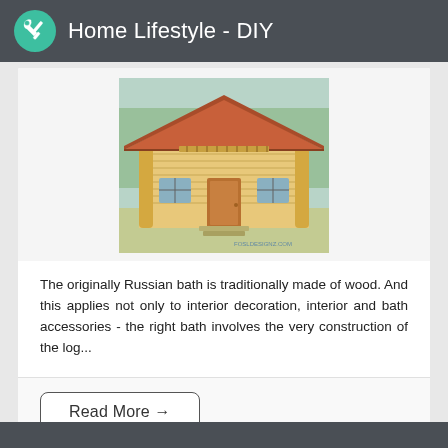Home Lifestyle - DIY
[Figure (photo): Exterior of a wooden log cabin house with red/brown tiled roof, wooden door, and balcony railings, surrounded by trees. Watermark text on lower right.]
The originally Russian bath is traditionally made of wood. And this applies not only to interior decoration, interior and bath accessories - the right bath involves the very construction of the log...
Read More →